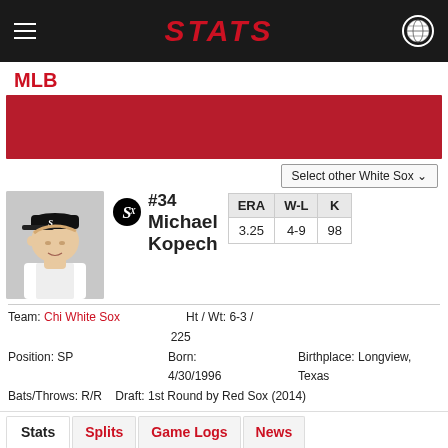STATS
MLB
[Figure (photo): Red team banner/header image placeholder]
Select other White Sox
[Figure (photo): Michael Kopech player headshot photo with White Sox cap]
#34 Michael Kopech
| ERA | W-L | K |
| --- | --- | --- |
| 3.25 | 4-9 | 98 |
Team: Chi White Sox  Ht / Wt: 6-3 / 225
Position: SP  Born: 4/30/1996  Birthplace: Longview, Texas
Bats/Throws: R/R  Draft: 1st Round by Red Sox (2014)
Stats  Splits  Game Logs  News
Latest News
Aug. 22 5:59 PM ET Michael Kopech allowed four runs on one hit and two